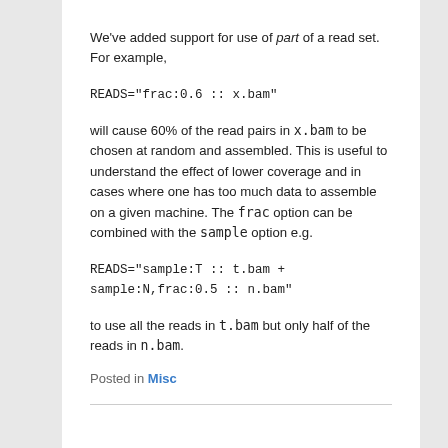We've added support for use of part of a read set. For example,
READS="frac:0.6 :: x.bam"
will cause 60% of the read pairs in x.bam to be chosen at random and assembled. This is useful to understand the effect of lower coverage and in cases where one has too much data to assemble on a given machine. The frac option can be combined with the sample option e.g.
READS="sample:T :: t.bam +
sample:N,frac:0.5 :: n.bam"
to use all the reads in t.bam but only half of the reads in n.bam.
Posted in Misc